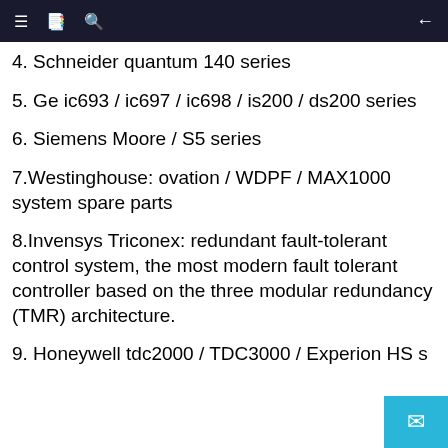≡  📋  🔍  ←
4. Schneider quantum 140 series
5. Ge ic693 / ic697 / ic698 / is200 / ds200 series
6. Siemens Moore / S5 series
7.Westinghouse: ovation / WDPF / MAX1000 system spare parts
8.Invensys Triconex: redundant fault-tolerant control system, the most modern fault tolerant controller based on the three modular redundancy (TMR) architecture.
9. Honeywell tdc2000 / TDC3000 / Experion HS s…